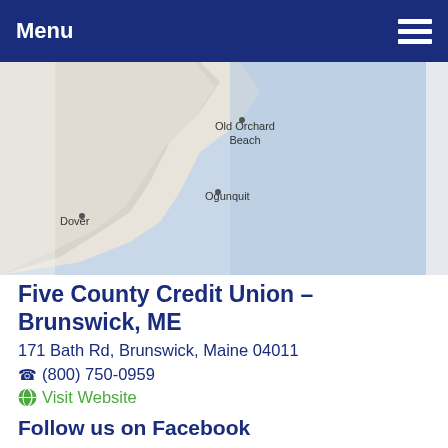Menu
[Figure (map): Partial map showing coastline near Old Orchard Beach, Ogunquit, and Dover in Maine/New Hampshire area]
Five County Credit Union – Brunswick, ME
171 Bath Rd, Brunswick, Maine 04011
(800) 750-0959
Visit Website
Follow us on Facebook